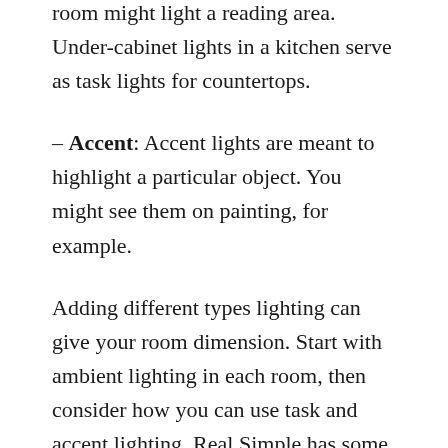room might light a reading area. Under-cabinet lights in a kitchen serve as task lights for countertops.
– Accent: Accent lights are meant to highlight a particular object. You might see them on painting, for example.
Adding different types lighting can give your room dimension. Start with ambient lighting in each room, then consider how you can use task and accent lighting. Real Simple has some specific tips on how to do this in each room.
Beyond these basics, you'll probably also want to make your home look like your own. We've got